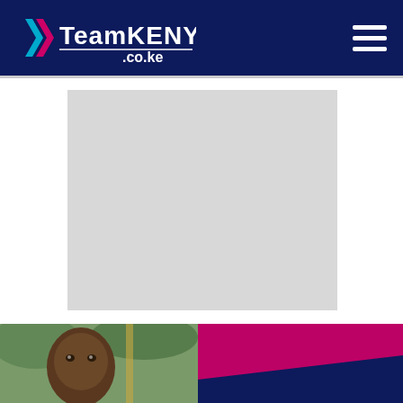TeamKENYA.co.ke
[Figure (other): Gray placeholder advertisement block]
[Figure (photo): Portrait photo of a Kenyan athlete overlaid on a dark navy blue background with pink/magenta diagonal accent element]